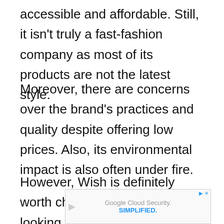accessible and affordable. Still, it isn't truly a fast-fashion company as most of its products are not the latest style.
Moreover, there are concerns over the brand's practices and quality despite offering low prices. Also, its environmental impact is also often under fire.
However, Wish is definitely worth checking out if you're looking for affordable fashion and
[Figure (other): Google Cloud Security. SIMPLIFIED. advertisement banner at the bottom of the page.]